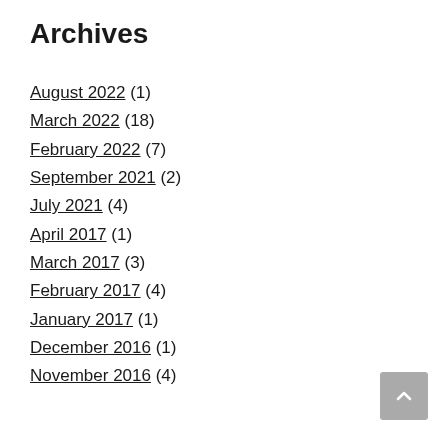Archives
August 2022 (1)
March 2022 (18)
February 2022 (7)
September 2021 (2)
July 2021 (4)
April 2017 (1)
March 2017 (3)
February 2017 (4)
January 2017 (1)
December 2016 (1)
November 2016 (4)